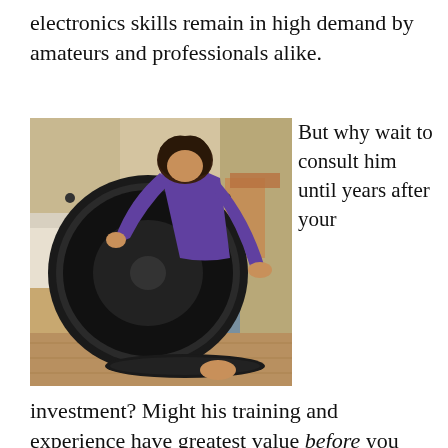electronics skills remain in high demand by amateurs and professionals alike.
[Figure (photo): Person in purple shirt leaning over a large black speaker/woofer driver, examining or assembling it on the floor of a home setting.]
But why wait to consult him until years after your
investment? Might his training and experience have greatest value before you make a telescope